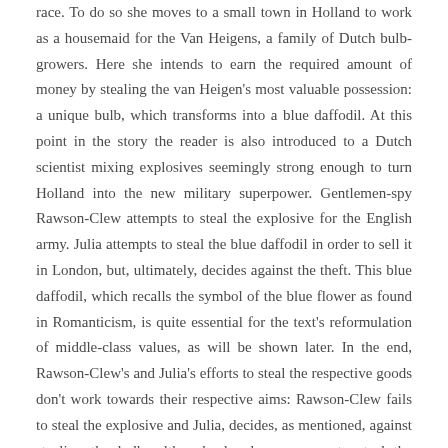race. To do so she moves to a small town in Holland to work as a housemaid for the Van Heigens, a family of Dutch bulb-growers. Here she intends to earn the required amount of money by stealing the van Heigen's most valuable possession: a unique bulb, which transforms into a blue daffodil. At this point in the story the reader is also introduced to a Dutch scientist mixing explosives seemingly strong enough to turn Holland into the new military superpower. Gentlemen-spy Rawson-Clew attempts to steal the explosive for the English army. Julia attempts to steal the blue daffodil in order to sell it in London, but, ultimately, decides against the theft. This blue daffodil, which recalls the symbol of the blue flower as found in Romanticism, is quite essential for the text's reformulation of middle-class values, as will be shown later. In the end, Rawson-Clew's and Julia's efforts to steal the respective goods don't work towards their respective aims: Rawson-Clew fails to steal the explosive and Julia, decides, as mentioned, against stealing the bulb; although she does manage to steal the explosives, which, however, prove to be ineffective. Despite all this, as the romantic stock-formula demands, they do fall for, and find, each other in time for the novel's happy end.